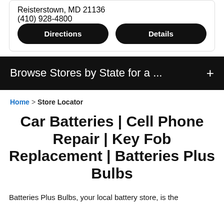Reisterstown, MD 21136
(410) 928-4800
Directions
Details
Browse Stores by State for a ...
Home > Store Locator
Car Batteries | Cell Phone Repair | Key Fob Replacement | Batteries Plus Bulbs
Batteries Plus Bulbs, your local battery store, is the